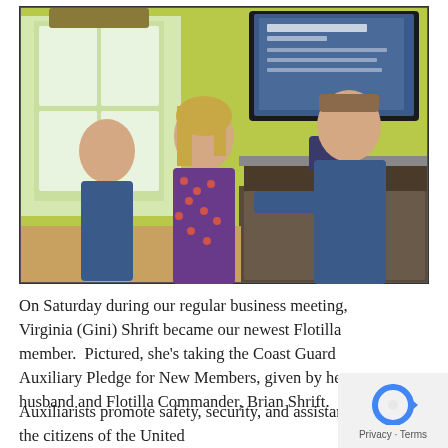[Figure (photo): Indoor scene showing three people in a kitchen/living area. On the left, a bald man in a blue shirt. In the center, a woman in a floral dress looking up. On the right, a man in a blue uniform appears to be speaking or presenting. A TV screen on the wall shows a presentation slide. The room has yellow-green walls and modern kitchen cabinetry.]
On Saturday during our regular business meeting, Virginia (Gini) Shrift became our newest Flotilla member. Pictured, she's taking the Coast Guard Auxiliary Pledge for New Members, given by her husband and Flotilla Commander, Brian Shrift.
Auxiliarists promote safety, security, and assistance for the citizens of the United States, both on the water and on shore.